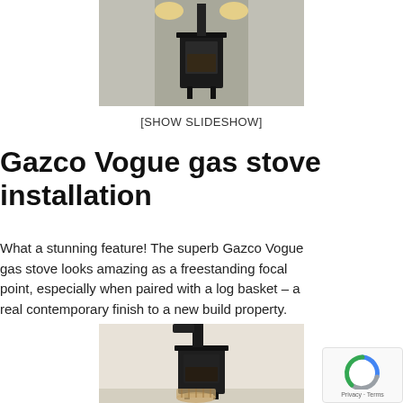[Figure (photo): A Gazco Vogue gas stove installed in a white alcove, viewed from the front, with warm lighting on either side.]
[SHOW SLIDESHOW]
Gazco Vogue gas stove installation
What a stunning feature! The superb Gazco Vogue gas stove looks amazing as a freestanding focal point, especially when paired with a log basket – a real contemporary finish to a new build property.
[Figure (photo): A freestanding Gazco Vogue gas stove with a flue pipe on the left side, with a log basket at its base, against a light wall.]
[Figure (other): reCAPTCHA privacy badge with logo and Privacy - Terms text.]